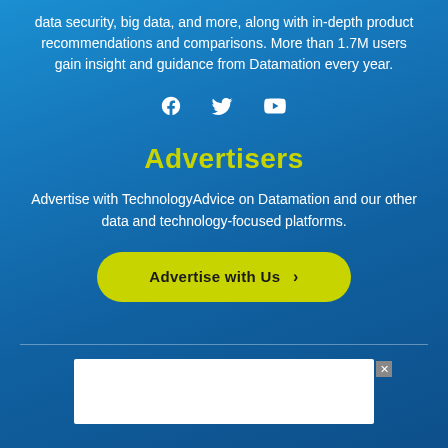data security, big data, and more, along with in-depth product recommendations and comparisons. More than 1.7M users gain insight and guidance from Datamation every year.
[Figure (infographic): Three white social media icons: Facebook (f), Twitter (bird), YouTube (play button triangle in rectangle)]
Advertisers
Advertise with TechnologyAdvice on Datamation and our other data and technology-focused platforms.
Advertise with Us >
[Figure (other): White advertisement box with close (x) button in upper right corner]